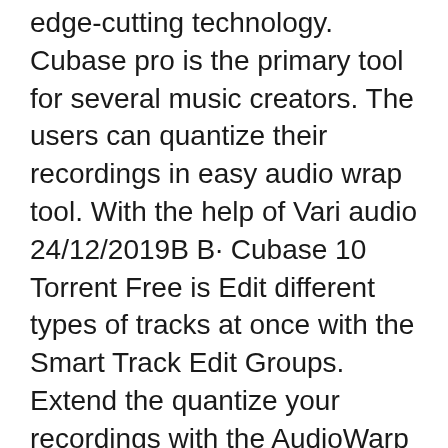edge-cutting technology. Cubase pro is the primary tool for several music creators. The users can quantize their recordings in easy audio wrap tool. With the help of Vari audio 24/12/2019B B· Cubase 10 Torrent Free is Edit different types of tracks at once with the Smart Track Edit Groups. Extend the quantize your recordings with the AudioWarp tool. Monophonic audio recordings to perfection with the stunning VariAudio 2.0 audio pitch and editing alteration tools. Cubase Pro 10.5 Crack + Full Keygen 2020 Free Download
Windows 10: upgrade or update disables Soft-eLicenser macOS Catalina compatibility. How to solve ...